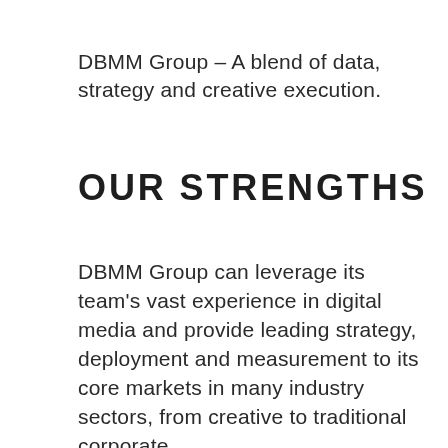DBMM Group – A blend of data, strategy and creative execution.
OUR STRENGTHS
DBMM Group can leverage its team's vast experience in digital media and provide leading strategy, deployment and measurement to its core markets in many industry sectors, from creative to traditional corporate